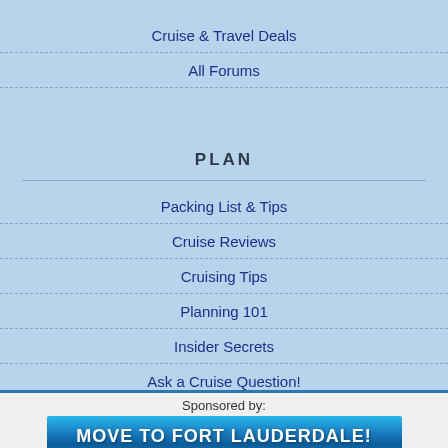Cruise & Travel Deals
All Forums
PLAN
Packing List & Tips
Cruise Reviews
Cruising Tips
Planning 101
Insider Secrets
Ask a Cruise Question!
Sponsored by:
[Figure (illustration): Banner advertisement: MOVE TO FORT LAUDERDALE! with ocean background]